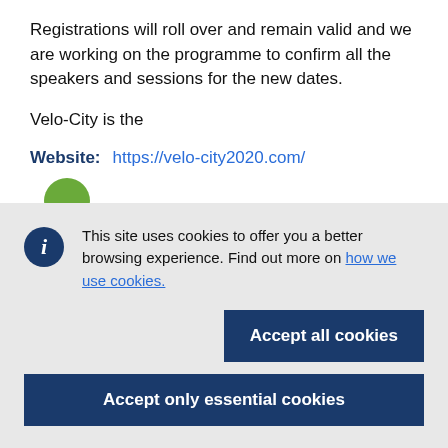Registrations will roll over and remain valid and we are working on the programme to confirm all the speakers and sessions for the new dates.
Velo-City is the
Website:   https://velo-city2020.com/
[Figure (logo): Partial green circle logo partially visible at bottom of white section]
This site uses cookies to offer you a better browsing experience. Find out more on how we use cookies.
Accept all cookies
Accept only essential cookies